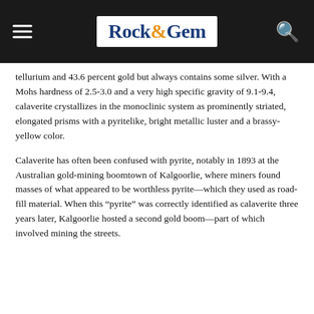Rock&Gem
tellurium and 43.6 percent gold but always contains some silver. With a Mohs hardness of 2.5-3.0 and a very high specific gravity of 9.1-9.4, calaverite crystallizes in the monoclinic system as prominently striated, elongated prisms with a pyritelike, bright metallic luster and a brassy-yellow color.
Calaverite has often been confused with pyrite, notably in 1893 at the Australian gold-mining boomtown of Kalgoorlie, where miners found masses of what appeared to be worthless pyrite—which they used as road-fill material. When this “pyrite” was correctly identified as calaverite three years later, Kalgoorlie hosted a second gold boom—part of which involved mining the streets.